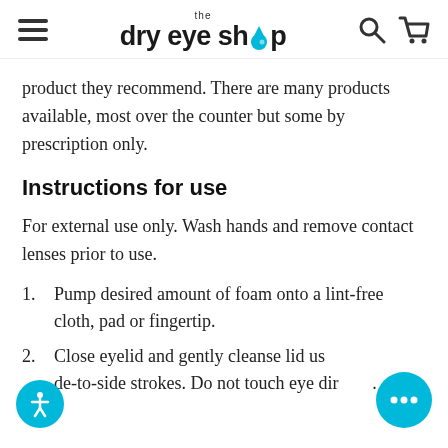the dry eye shop
product they recommend. There are many products available, most over the counter but some by prescription only.
Instructions for use
For external use only. Wash hands and remove contact lenses prior to use.
Pump desired amount of foam onto a lint-free cloth, pad or fingertip.
Close eyelid and gently cleanse lid using side-to-side strokes. Do not touch eye directly.
Repeat for the other lid and as often as needed.